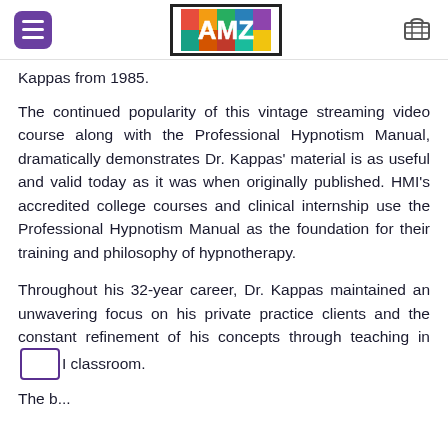AMZ logo with menu and cart
Kappas from 1985.
The continued popularity of this vintage streaming video course along with the Professional Hypnotism Manual, dramatically demonstrates Dr. Kappas' material is as useful and valid today as it was when originally published. HMI's accredited college courses and clinical internship use the Professional Hypnotism Manual as the foundation for their training and philosophy of hypnotherapy.
Throughout his 32-year career, Dr. Kappas maintained an unwavering focus on his private practice clients and the constant refinement of his concepts through teaching in the HMI classroom.
The last...